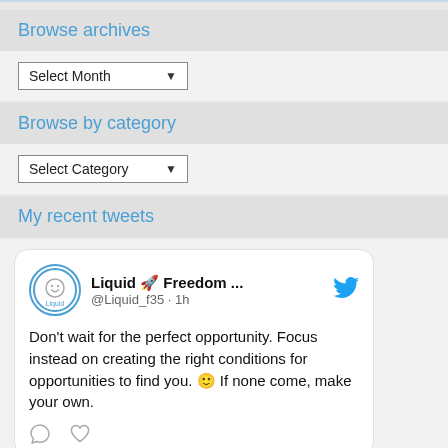Browse archives
[Figure (screenshot): A dropdown select input showing 'Select Month' with a down arrow]
Browse by category
[Figure (screenshot): A dropdown select input showing 'Select Category' with a down arrow]
My recent tweets
[Figure (screenshot): A tweet card from @Liquid_f35 (Liquid 🚀 Freedom ...) posted 1h ago, with Twitter bird logo. Text: Don't wait for the perfect opportunity. Focus instead on creating the right conditions for opportunities to find you. 🙂 If none come, make your own. Shows comment and heart icons at bottom.]